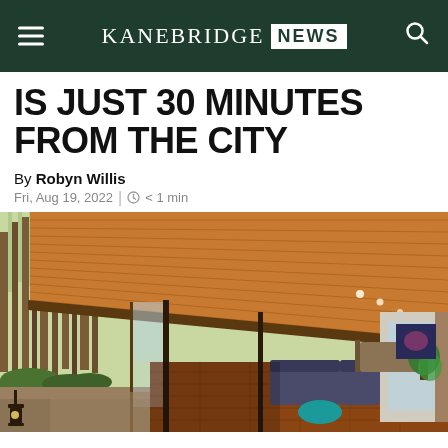KANEBRIDGE NEWS
IS JUST 30 MINUTES FROM THE CITY
By Robyn Willis
Fri, Aug 19, 2022 | < 1 min
[Figure (photo): Modern house veranda/outdoor covered patio with timber ceiling, glass walls open to a bushland forest setting. Outdoor furniture visible on polished timber deck.]